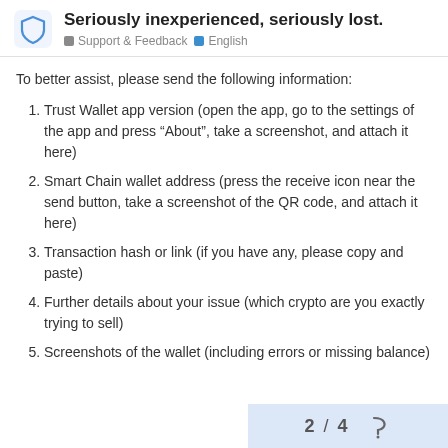Seriously inexperienced, seriously lost. | Support & Feedback | English
To better assist, please send the following information:
Trust Wallet app version (open the app, go to the settings of the app and press “About”, take a screenshot, and attach it here)
Smart Chain wallet address (press the receive icon near the send button, take a screenshot of the QR code, and attach it here)
Transaction hash or link (if you have any, please copy and paste)
Further details about your issue (which crypto are you exactly trying to sell)
Screenshots of the wallet (including errors or missing balance)
2 / 4